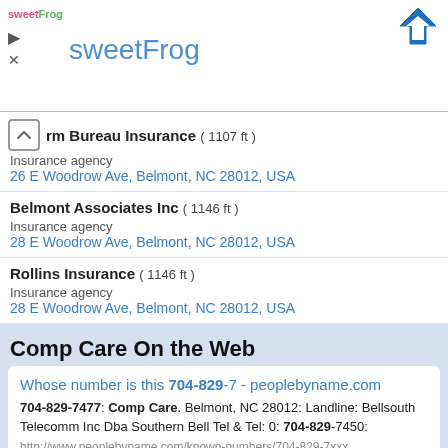[Figure (screenshot): sweetFrog advertisement banner with logo, play and close icons, navigation icon]
rm Bureau Insurance ( 1107 ft ) Insurance agency 26 E Woodrow Ave, Belmont, NC 28012, USA
Belmont Associates Inc ( 1146 ft ) Insurance agency 28 E Woodrow Ave, Belmont, NC 28012, USA
Rollins Insurance ( 1146 ft ) Insurance agency 28 E Woodrow Ave, Belmont, NC 28012, USA
Comp Care On the Web
Whose number is this 704-829-7 - peoplebyname.com
704-829-7477: Comp Care. Belmont, NC 28012: Landline: Bellsouth Telecomm Inc Dba Southern Bell Tel & Tel: 0: 704-829-7450:
http://www.peoplebyname.com/known-numbers/704-829-7xxx